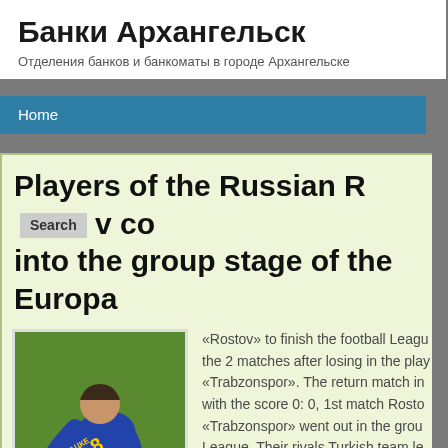Банки Архангельск
Отделения банков и банкоматы в городе Архангельске
Home
Players of the Russian R v co into the group stage of the Europa
[Figure (photo): Football player in blue uniform with number 18 and name ТАЦКЕ on back, collapsed on grass pitch with head bowed to ground]
«Rostov» to finish the football League the 2 matches after losing in the play «Trabzonspor». The return match in with the score 0: 0, 1st match Rosto «Trabzonspor» went out in the group League. Their rivals Turkish team le day of the week, when in Monaco w